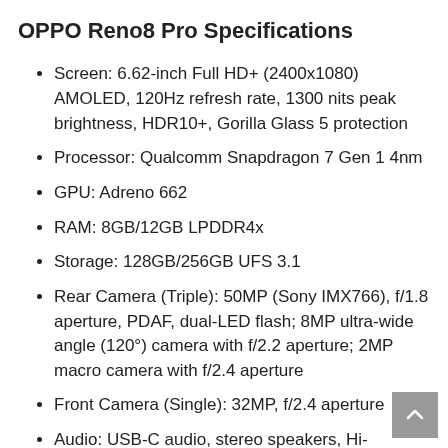OPPO Reno8 Pro Specifications
Screen: 6.62-inch Full HD+ (2400x1080) AMOLED, 120Hz refresh rate, 1300 nits peak brightness, HDR10+, Gorilla Glass 5 protection
Processor: Qualcomm Snapdragon 7 Gen 1 4nm
GPU: Adreno 662
RAM: 8GB/12GB LPDDR4x
Storage: 128GB/256GB UFS 3.1
Rear Camera (Triple): 50MP (Sony IMX766), f/1.8 aperture, PDAF, dual-LED flash; 8MP ultra-wide angle (120°) camera with f/2.2 aperture; 2MP macro camera with f/2.4 aperture
Front Camera (Single): 32MP, f/2.4 aperture
Audio: USB-C audio, stereo speakers, Hi-Res audio